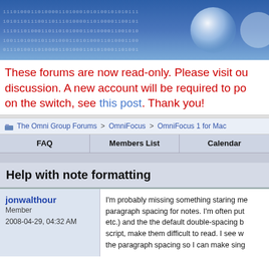[Figure (other): Website header banner with binary code text and circular logo element on blue gradient background]
These forums are now read-only. Please visit our new forums for discussion. A new account will be required to post there. For more info on the switch, see this post. Thank you!
The Omni Group Forums > OmniFocus > OmniFocus 1 for Mac
FAQ   Members List   Calendar
Help with note formatting
jonwalthour
Member
2008-04-29, 04:32 AM
I'm probably missing something staring me in the face, but I can't find a way to change the paragraph spacing for notes. I'm often putting in lists of items (errands, tools needed, etc.) and the the default double-spacing between paragraphs, combined with a small script, make them difficult to read. I see wh the paragraph spacing so I can make sing